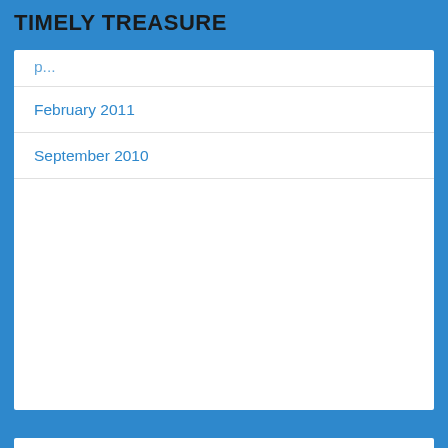TIMELY TREASURE
February 2011
September 2010
[Figure (photo): Oil portrait painting of a historical figure, likely Thomas Jefferson, showing a man with white powdered hair, wearing period clothing with an orange/red collar, painted in classical portraiture style with a dark brownish-grey background.]